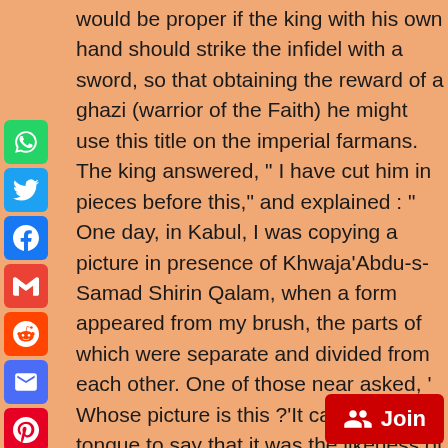would be proper if the king with his own hand should strike the infidel with a sword, so that obtaining the reward of a ghazi (warrior of the Faith) he might use this title on the imperial farmans. The king answered, " I have cut him in pieces before this," and explained : " One day, in Kabul, I was copying a picture in presence of Khwaja'Abdu-s-Samad Shirin Qalam, when a form appeared from my brush, the parts of which were separate and divided from each other. One of those near asked, ' Whose picture is this ?'It came to my tongue to say that it was the likeness of Hemu." Not defiling his hand with his (Hemu's) blood, he told one of his servants to cut off his head. Those killed in the defeated army numbered 5,000 in addition to those who fell in various places round about.
[Figure (other): Social media sharing sidebar with icons: WhatsApp, Twitter, Facebook, Gmail, Reddit, Email, Pinterest, Tumblr, LinkedIn, More/Share]
[Figure (other): Red Join button with people icon in bottom right corner]